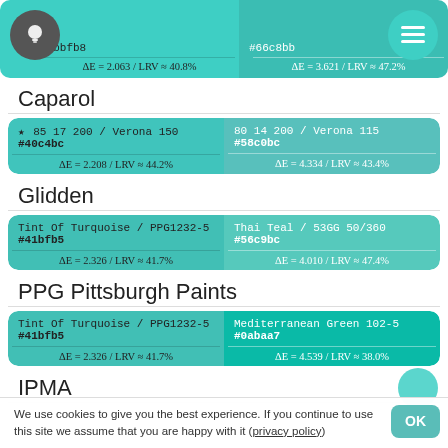#6bbfb8  ΔE = 2.063 / LRV ≈ 40.8%
#66c8bb  ΔE = 3.621 / LRV ≈ 47.2%
Caparol
| ★  85 17 200 / Verona 150
#40c4bc
ΔE = 2.208 / LRV ≈ 44.2% | 80 14 200 / Verona 115
#58c0bc
ΔE = 4.334 / LRV ≈ 43.4% |
Glidden
| Tint Of Turquoise / PPG1232-5
#41bfb5
ΔE = 2.326 / LRV ≈ 41.7% | Thai Teal / 53GG 50/360
#56c9bc
ΔE = 4.010 / LRV ≈ 47.4% |
PPG Pittsburgh Paints
| Tint Of Turquoise / PPG1232-5
#41bfb5
ΔE = 2.326 / LRV ≈ 41.7% | Mediterranean Green 102-5
#0abaa7
ΔE = 4.539 / LRV ≈ 38.0% |
IPMA
We use cookies to give you the best experience. If you continue to use this site we assume that you are happy with it (privacy policy)